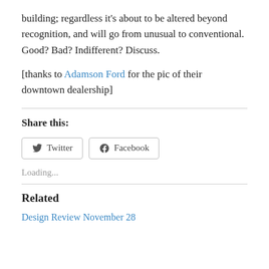building; regardless it’s about to be altered beyond recognition, and will go from unusual to conventional. Good? Bad? Indifferent? Discuss.
[thanks to Adamson Ford for the pic of their downtown dealership]
Share this:
Twitter  Facebook
Loading...
Related
Design Review November 28